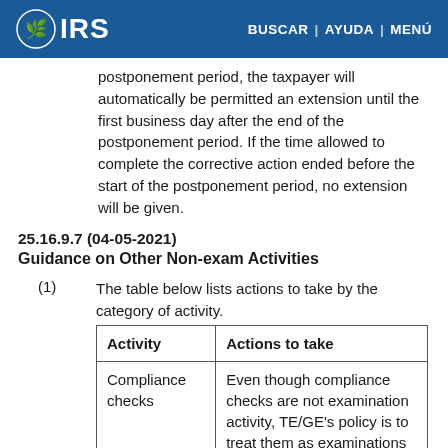IRS | BUSCAR | AYUDA | MENÚ
postponement period, the taxpayer will automatically be permitted an extension until the first business day after the end of the postponement period. If the time allowed to complete the corrective action ended before the start of the postponement period, no extension will be given.
25.16.9.7 (04-05-2021)
Guidance on Other Non-exam Activities
(1) The table below lists actions to take by the category of activity.
| Activity | Actions to take |
| --- | --- |
| Compliance checks | Even though compliance checks are not examination activity, TE/GE's policy is to treat them as examinations for purposes of the |